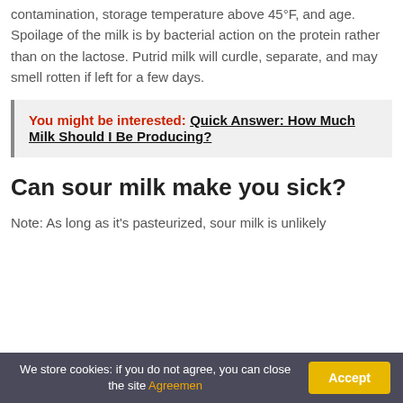contamination, storage temperature above 45°F, and age. Spoilage of the milk is by bacterial action on the protein rather than on the lactose. Putrid milk will curdle, separate, and may smell rotten if left for a few days.
You might be interested: Quick Answer: How Much Milk Should I Be Producing?
Can sour milk make you sick?
Note: As long as it's pasteurized, sour milk is unlikely
We store cookies: if you do not agree, you can close the site Agreemen Accept